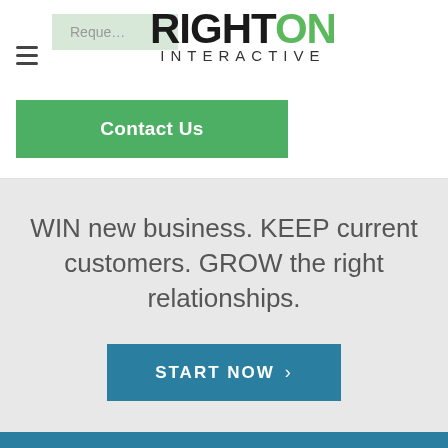[Figure (logo): RightOn Interactive logo with hamburger menu and Request button in the navigation bar. Logo shows RIGHT in black bold and ON in green bold, with INTERACTIVE in spaced letters below.]
Contact Us
WIN new business. KEEP current customers. GROW the right relationships.
START NOW >